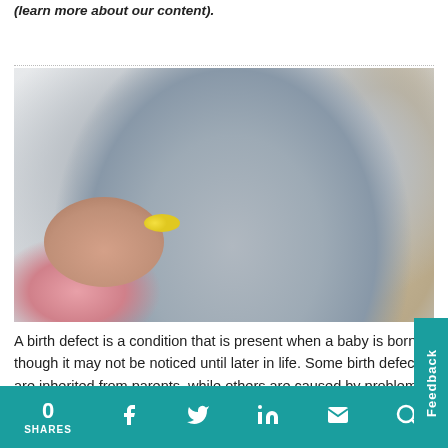(learn more about our content).
[Figure (photo): A pregnant woman holding pills in one outstretched hand and a glass of water in the other hand, with pink fabric visible in the lower left.]
A birth defect is a condition that is present when a baby is born, though it may not be noticed until later in life. Some birth defects are inherited from parents, while others are caused by problems in the parts of a person's
0 SHARES   [Facebook] [Twitter] [LinkedIn] [Email] [Search]   Feedback